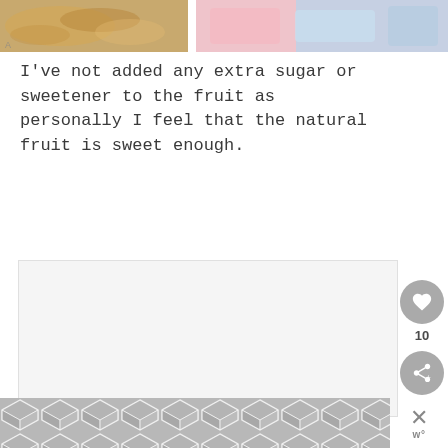[Figure (photo): Partial top strip showing food items — granola/nuts on left and pink/blue dessert items on right]
I've not added any extra sugar or sweetener to the fruit as personally I feel that the natural fruit is sweet enough.
[Figure (photo): Large mostly white/light gray image placeholder area with slide navigation dots below]
[Figure (screenshot): Gray chevron/hexagon pattern banner at bottom of page with close (X) button and app icon on right side]